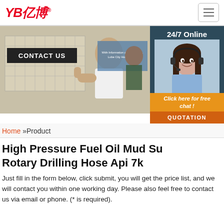[Figure (logo): YB亿博 company logo in red italic bold text with registered trademark symbol]
[Figure (photo): Banner photo: man giving thumbs up in front of CONTACT US sign, with 24/7 Online customer service chat panel on the right showing female agent with headset]
Home »Product
High Pressure Fuel Oil Mud Su Rotary Drilling Hose Api 7k
Just fill in the form below, click submit, you will get the price list, and we will contact you within one working day. Please also feel free to contact us via email or phone. (* is required).